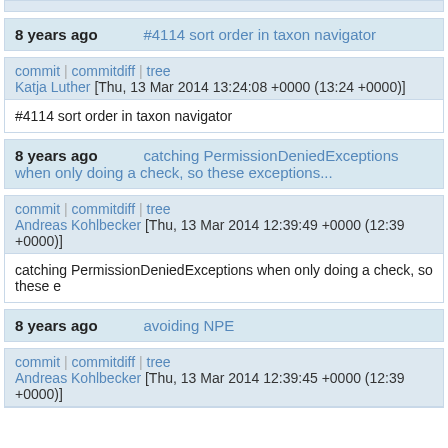(top bar continuation)
8 years ago   #4114 sort order in taxon navigator
commit | commitdiff | tree
Katja Luther [Thu, 13 Mar 2014 13:24:08 +0000 (13:24 +0000)]
#4114 sort order in taxon navigator
8 years ago   catching PermissionDeniedExceptions when only doing a check, so these exceptions...
commit | commitdiff | tree
Andreas Kohlbecker [Thu, 13 Mar 2014 12:39:49 +0000 (12:39 +0000)]
catching PermissionDeniedExceptions when only doing a check, so these e
8 years ago   avoiding NPE
commit | commitdiff | tree
Andreas Kohlbecker [Thu, 13 Mar 2014 12:39:45 +0000 (12:39 +0000)]